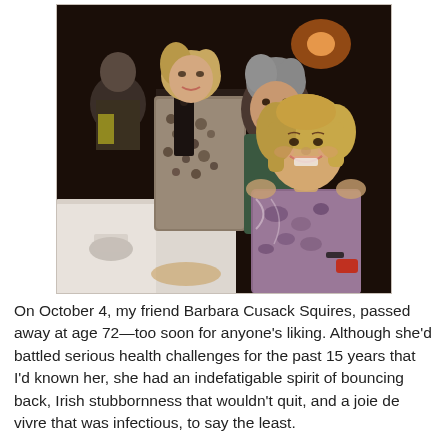[Figure (photo): A photograph taken in a dimly lit restaurant setting showing four people seated around a table. In the foreground is a woman with blonde hair wearing a floral/purple patterned top smiling at the camera. Behind her is a man with grey hair. To the left is a woman with medium blonde hair wearing a leopard-print jacket. In the background at the left is another person. The table has white tablecloths and glassware visible.]
On October 4, my friend Barbara Cusack Squires, passed away at age 72—too soon for anyone's liking. Although she'd battled serious health challenges for the past 15 years that I'd known her, she had an indefatigable spirit of bouncing back, Irish stubbornness that wouldn't quit, and a joie de vivre that was infectious, to say the least.